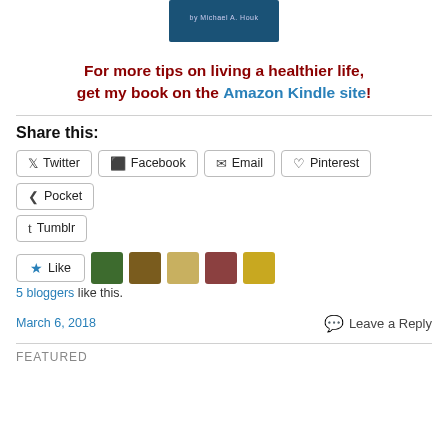[Figure (illustration): Book cover image on blue background by Michael A. Houk]
For more tips on living a healthier life, get my book on the Amazon Kindle site!
Share this:
Twitter
Facebook
Email
Pinterest
Pocket
Tumblr
[Figure (illustration): Like button with star icon followed by 5 blogger avatar thumbnails]
5 bloggers like this.
March 6, 2018
Leave a Reply
FEATURED